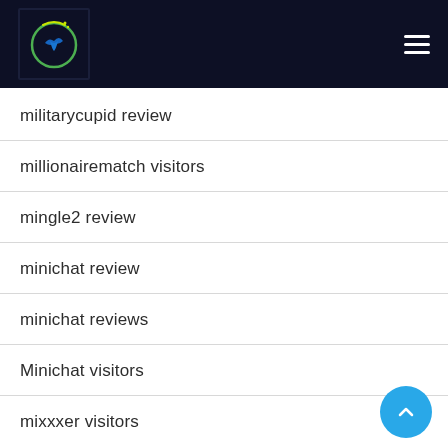Navigation header with logo and hamburger menu
militarycupid review
millionairematch visitors
mingle2 review
minichat review
minichat reviews
Minichat visitors
mixxxer visitors